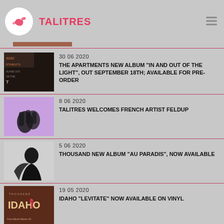TALITRES
30 06 2020 — THE APARTMENTS NEW ALBUM "IN AND OUT OF THE LIGHT", OUT SEPTEMBER 18TH; AVAILABLE FOR PRE-ORDER
8 06 2020 — TALITRES WELCOMES FRENCH ARTIST FELDUP
5 06 2020 — THOUSAND NEW ALBUM "AU PARADIS", NOW AVAILABLE
19 05 2020 — IDAHO "LEVITATE" NOW AVAILABLE ON VINYL